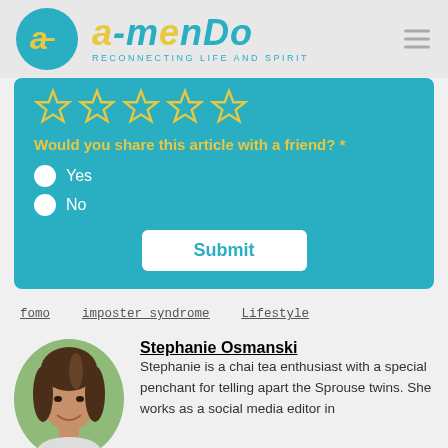[Figure (logo): Amendo logo with cyan circle containing stylized 'a' in yellow, text 'amendo' in cyan italic, tagline 'RECONNECTING LIFE AND SPIRIT']
[Figure (other): Survey widget on cyan background with 5 star rating icons, question 'Would you share this article with a friend?', Yes/No radio buttons, and Submit button]
fomo
imposter syndrome
Lifestyle
Stephanie Osmanski
Stephanie is a chai tea enthusiast with a special penchant for telling apart the Sprouse twins. She works as a social media editor in